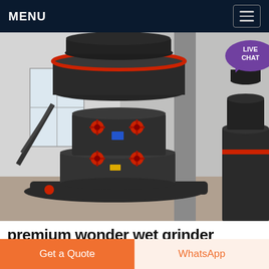MENU
[Figure (photo): Large industrial grinding mill machine (dark gray/black) with red accent ring at top and red valve handles, photographed in a factory/warehouse setting. A second smaller similar machine is visible at the right edge.]
premium wonder wet grinder
Get a Quote
WhatsApp